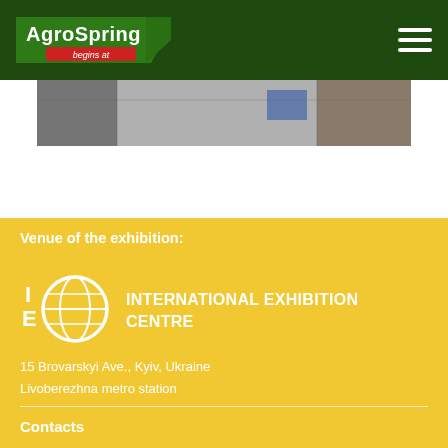AgroSpring begins at
[Figure (photo): Partial photo of an exhibition interior, showing walls and a blue sign, cropped at top]
Venue of the exhibition:
[Figure (logo): IEC International Exhibition Centre logo — white globe icon with IEC letters]
INTERNATIONAL EXHIBITION CENTRE
15 Brovarskyi Ave., Kyiv, Ukraine
Livoberezhna metro station
Contacts